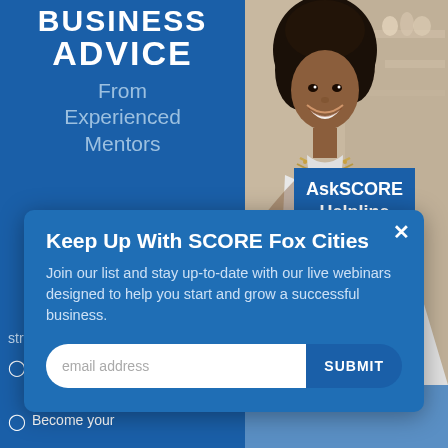BUSINESS ADVICE From Experienced Mentors
[Figure (photo): Smiling woman with natural hair wearing a white turtleneck and layered necklace, photographed in what appears to be a cafe or restaurant setting]
AskSCORE Helpline
strategies & ideas
Offer you proven business tools
Become your
Keep Up With SCORE Fox Cities
Join our list and stay up-to-date with our live webinars designed to help you start and grow a successful business.
email address
SUBMIT